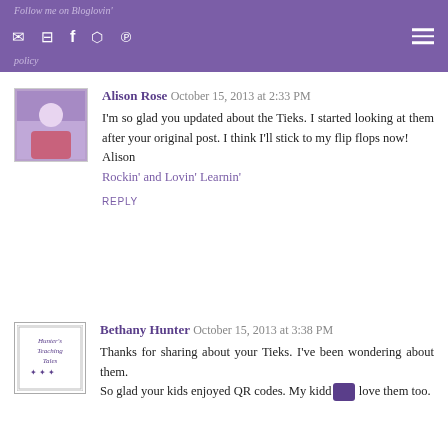Follow me on Bloglovin' · [nav icons] · ≡
Alison Rose  October 15, 2013 at 2:33 PM
I'm so glad you updated about the Tieks. I started looking at them after your original post. I think I'll stick to my flip flops now!
Alison
Rockin' and Lovin' Learnin'
REPLY
Bethany Hunter  October 15, 2013 at 3:38 PM
Thanks for sharing about your Tieks. I've been wondering about them.
So glad your kids enjoyed QR codes. My kiddo love them too.